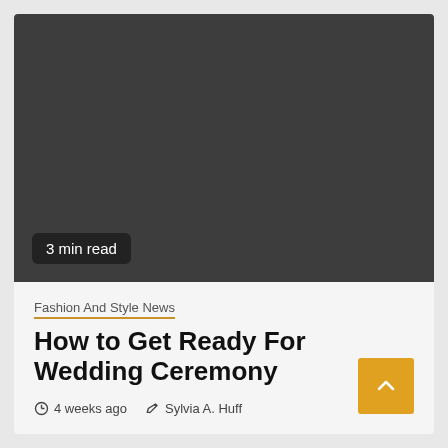[Figure (photo): Dark gray placeholder image area for article thumbnail]
3 min read
Fashion And Style News
How to Get Ready For Wedding Ceremony
4 weeks ago   Sylvia A. Huff